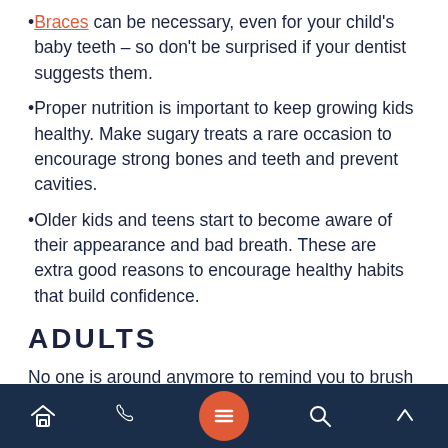Braces can be necessary, even for your child's baby teeth – so don't be surprised if your dentist suggests them.
Proper nutrition is important to keep growing kids healthy. Make sugary treats a rare occasion to encourage strong bones and teeth and prevent cavities.
Older kids and teens start to become aware of their appearance and bad breath. These are extra good reasons to encourage healthy habits that build confidence.
ADULTS
No one is around anymore to remind you to brush your teeth or force/drive you to the dentist. And lots of your favorite vices in this age can wreak havoc on your teeth (the best set you'll get!). Your
Navigation bar with home, phone, menu, search, and up icons